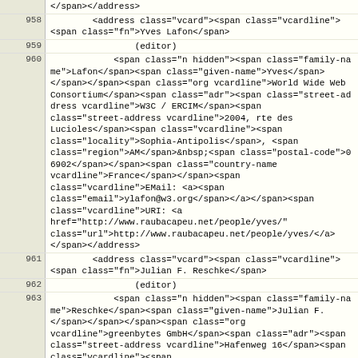| line | code |
| --- | --- |
|  | </span></address> |
| 958 | <address class="vcard"><span class="vcardline">
<span class="fn">Yves Lafon</span> |
| 959 |             (editor) |
| 960 |             <span class="n hidden"><span class="family-name">Lafon</span><span class="given-name">Yves</span></span></span><span class="org vcardline">World Wide Web Consortium</span><span class="adr"><span class="street-address vcardline">W3C / ERCIM</span><span class="street-address vcardline">2004, rte des Lucioles</span><span class="vcardline"><span class="locality">Sophia-Antipolis</span>, <span class="region">AM</span>&nbsp;<span class="postal-code">06902</span></span><span class="country-name vcardline">France</span></span><span class="vcardline">EMail: <a><span class="email">ylafon@w3.org</span></a></span><span class="vcardline">URI: <a href="http://www.raubacapeu.net/people/yves/" class="url">http://www.raubacapeu.net/people/yves/</a></span></address> |
| 961 |         <address class="vcard"><span class="vcardline">
<span class="fn">Julian F. Reschke</span> |
| 962 |             (editor) |
| 963 |             <span class="n hidden"><span class="family-name">Reschke</span><span class="given-name">Julian F.</span></span></span></span><span class="org vcardline">greenbytes GmbH</span><span class="adr"><span class="street-address vcardline">Hafenweg 16</span><span class="vcardline"><span class="locality">Muenster</span>, <span class="region">NW</span>&nbsp;<span class="postal-code">48155</span></span><span class="country-name vcardline">Germany</span></span><span class="vcardline tel">Phone: <a href="tel:+492512807760"><span class="value">+49 251 2807760</span></a></span><span class="vcardline tel"><span class="type">Fax</span>: <a |